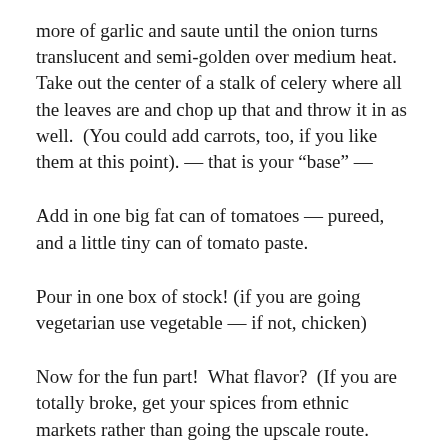more of garlic and saute until the onion turns translucent and semi-golden over medium heat. Take out the center of a stalk of celery where all the leaves are and chop up that and throw it in as well.  (You could add carrots, too, if you like them at this point). — that is your “base” —
Add in one big fat can of tomatoes — pureed, and a little tiny can of tomato paste.
Pour in one box of stock! (if you are going vegetarian use vegetable — if not, chicken)
Now for the fun part!  What flavor?  (If you are totally broke, get your spices from ethnic markets rather than going the upscale route.  They are just